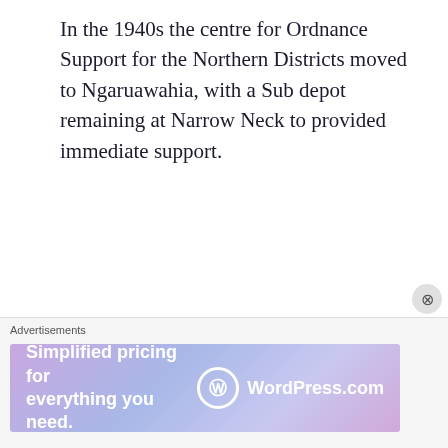In the 1940s the centre for Ordnance Support for the Northern Districts moved to Ngaruawahia, with a Sub depot remaining at Narrow Neck to provided immediate support.
RNZAOC units that have been accommodated at Auckland have been:
Stores Depot
[Figure (screenshot): Advertisement banner: 'Simplified pricing for everything you need.' with WordPress.com logo on gradient purple/blue background. Labeled 'Advertisements' above.]